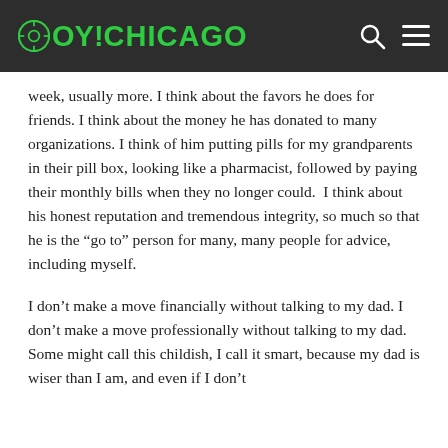OY!CHICAGO
week, usually more. I think about the favors he does for friends. I think about the money he has donated to many organizations. I think of him putting pills for my grandparents in their pill box, looking like a pharmacist, followed by paying their monthly bills when they no longer could.  I think about his honest reputation and tremendous integrity, so much so that he is the “go to” person for many, many people for advice, including myself.
I don’t make a move financially without talking to my dad. I don’t make a move professionally without talking to my dad. Some might call this childish, I call it smart, because my dad is wiser than I am, and even if I don’t